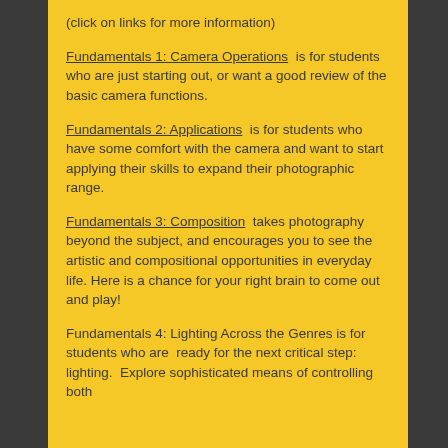(click on links for more information)
Fundamentals 1:  Camera Operations  is for students who are just starting out, or want a good review of the basic camera functions.
Fundamentals 2:  Applications  is for students who have some comfort with the camera and want to start applying their skills to expand their photographic range.
Fundamentals 3:  Composition  takes photography beyond the subject, and encourages you to see the artistic and compositional opportunities in everyday life. Here is a chance for your right brain to come out and play!
Fundamentals 4:  Lighting Across the Genres is for students who are  ready for the next critical step: lighting.  Explore sophisticated means of controlling both